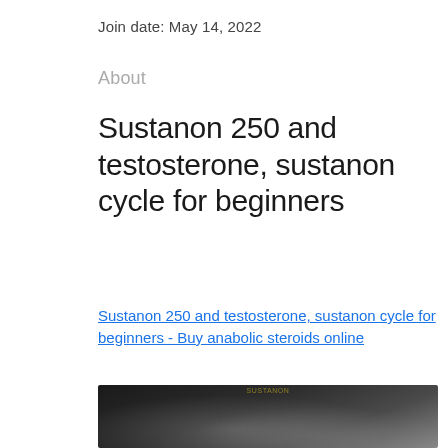Join date: May 14, 2022
About
Sustanon 250 and testosterone, sustanon cycle for beginners
Sustanon 250 and testosterone, sustanon cycle for beginners - Buy anabolic steroids online
[Figure (photo): Blurred dark photograph, likely of a person or bodybuilding-related subject]